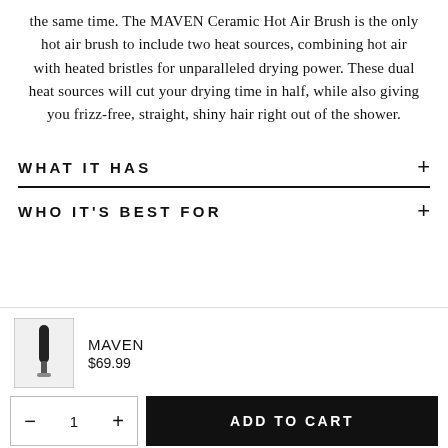the same time. The MAVEN Ceramic Hot Air Brush is the only hot air brush to include two heat sources, combining hot air with heated bristles for unparalleled drying power. These dual heat sources will cut your drying time in half, while also giving you frizz-free, straight, shiny hair right out of the shower.
WHAT IT HAS
WHO IT'S BEST FOR
MAVEN
$69.99
ADD TO CART